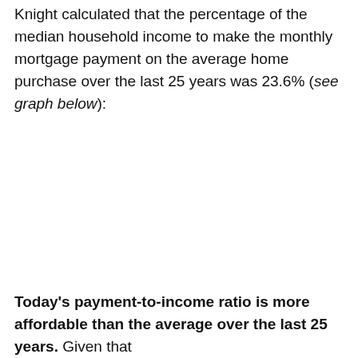Knight calculated that the percentage of the median household income to make the monthly mortgage payment on the average home purchase over the last 25 years was 23.6% (see graph below):
Today's payment-to-income ratio is more affordable than the average over the last 25 years. Given that